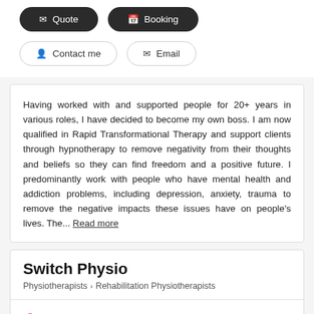Quote
Booking
Contact me
Email
Having worked with and supported people for 20+ years in various roles, I have decided to become my own boss. I am now qualified in Rapid Transformational Therapy and support clients through hypnotherapy to remove negativity from their thoughts and beliefs so they can find freedom and a positive future. I predominantly work with people who have mental health and addiction problems, including depression, anxiety, trauma to remove the negative impacts these issues have on people's lives. The... Read more
Switch Physio
Physiotherapists > Rehabilitation Physiotherapists
46 Wellington St, Howick (2010), Auckland Region
2-5 km from Farm Cove (2012)